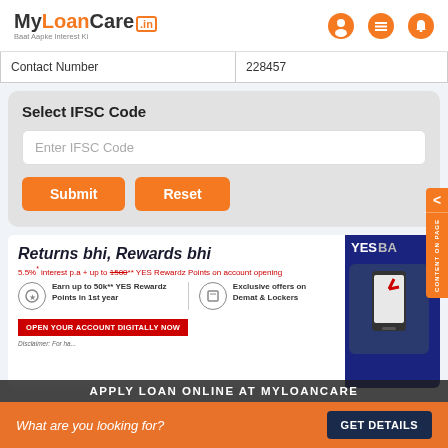[Figure (logo): MyLoanCare.in logo with tagline Baat Aapke Interest Ki and navigation icons]
| Contact Number | 228457 |
| --- | --- |
Select IFSC Code
Enter IFSC Code
Submit | Reset
[Figure (infographic): YES Bank advertisement banner - Returns bhi, Rewards bhi. 5.5%* interest p.a + up to 1500** YES Rewardz Points on account opening. Earn up to 50k** YES Rewardz Points in 1st year. Exclusive offers on Demat & Lockers. OPEN YOUR ACCOUNT DIGITALLY NOW.]
Disclaimer: For ha...
APPLY LOAN ONLINE AT MYLOANCARE
What are you looking for?
GET DETAILS